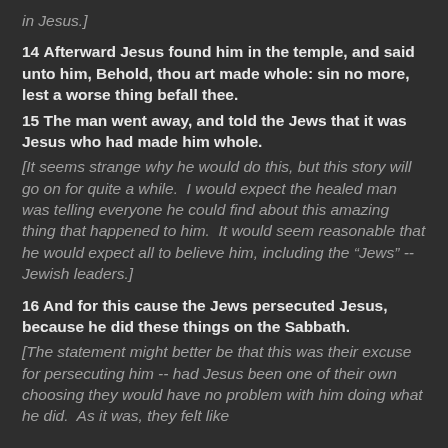in Jesus.]
14 Afterward Jesus found him in the temple, and said unto him, Behold, thou art made whole: sin no more, lest a worse thing befall thee.
15 The man went away, and told the Jews that it was Jesus who had made him whole.
[It seems strange why he would do this, but this story will go on for quite a while.  I would expect the healed man was telling everyone he could find about this amazing thing that happened to him.  It would seem reasonable that he would expect all to believe him, including the “Jews” -- Jewish leaders.]
16 And for this cause the Jews persecuted Jesus, because he did these things on the Sabbath.
[The statement might better be that this was their excuse for persecuting him -- had Jesus been one of their own choosing they would have no problem with him doing what he did.  As it was, they felt like